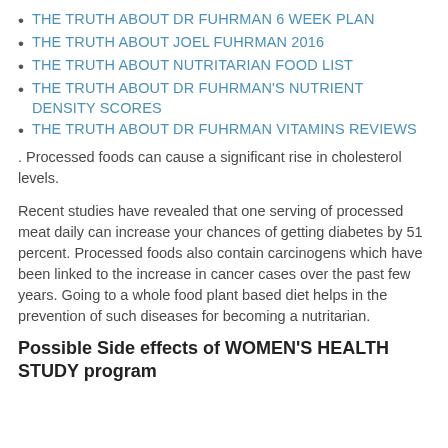THE TRUTH ABOUT DR FUHRMAN 6 WEEK PLAN
THE TRUTH ABOUT JOEL FUHRMAN 2016
THE TRUTH ABOUT NUTRITARIAN FOOD LIST
THE TRUTH ABOUT DR FUHRMAN'S NUTRIENT DENSITY SCORES
THE TRUTH ABOUT DR FUHRMAN VITAMINS REVIEWS
. Processed foods can cause a significant rise in cholesterol levels.
Recent studies have revealed that one serving of processed meat daily can increase your chances of getting diabetes by 51 percent. Processed foods also contain carcinogens which have been linked to the increase in cancer cases over the past few years. Going to a whole food plant based diet helps in the prevention of such diseases for becoming a nutritarian.
Possible Side effects of WOMEN'S HEALTH STUDY program